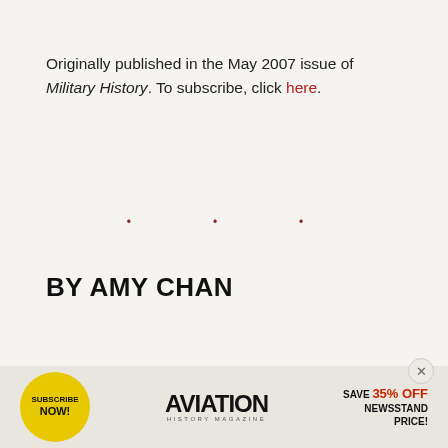Originally published in the May 2007 issue of Military History. To subscribe, click here.
• • •
BY AMY CHAN
MORE BY AMY CHAN
DIVE DEEPER
TERRORISM
CITATION INFORMATION
[Figure (infographic): Aviation History Magazine advertisement: Subscribe Now! Save 35% Off Newsstand Price! Yellow circular badge on left, AVIATION HISTORY MAGAZINE text in center, red promotional text on right.]